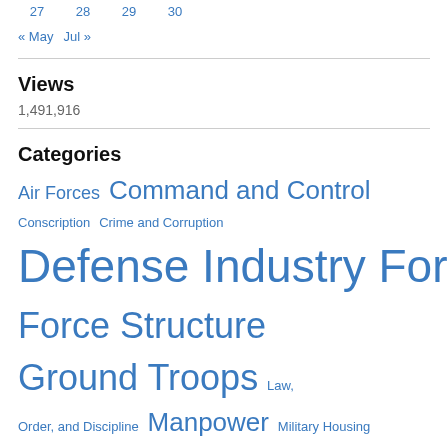27  28  29  30
« May  Jul »
Views
1,491,916
Categories
Air Forces  Command and Control  Conscription  Crime and Corruption  Defense Industry Force Modernization  Force Structure  Ground Troops  Law, Order, and Discipline  Manpower  Military Housing  Military Leadership  Naval Modernization  Navy  Officer Corps  Strategic Forces Modernization  Training and Exercises